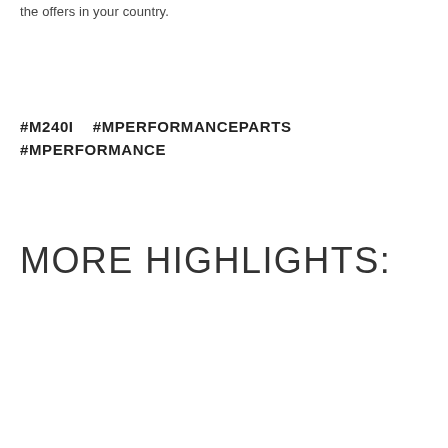the offers in your country.
#M240I   #MPERFORMANCEPARTS
#MPERFORMANCE
MORE HIGHLIGHTS: